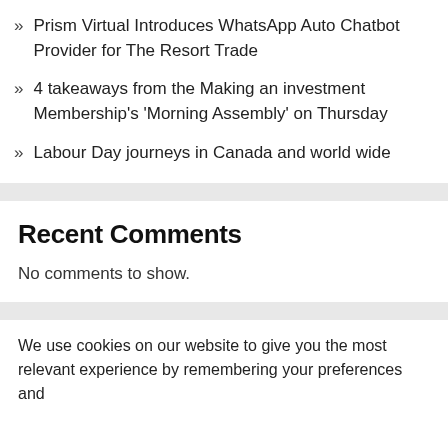Prism Virtual Introduces WhatsApp Auto Chatbot Provider for The Resort Trade
4 takeaways from the Making an investment Membership's 'Morning Assembly' on Thursday
Labour Day journeys in Canada and world wide
Recent Comments
No comments to show.
We use cookies on our website to give you the most relevant experience by remembering your preferences and